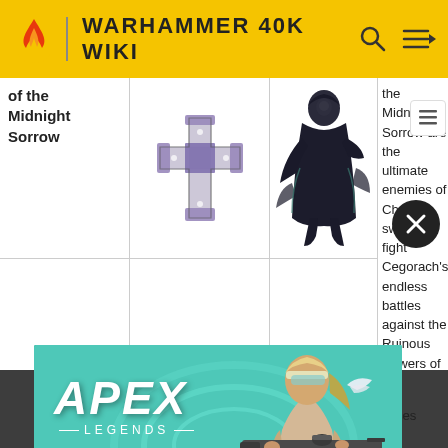WARHAMMER 40K WIKI
of the Midnight Sorrow
[Figure (illustration): Black cross/Templar symbol illustration]
[Figure (illustration): Dark figure/character illustration]
the Midnight Sorrow are the ultimate enemies of Chaos, sworn to fight Cegorach's endless battles against the Ruinous Powers of the Warp. The Masque's name stems from the eighteenth verse of the third act of the Fall: that infamous...esses...ne...wayward children
[Figure (advertisement): Apex Legends game advertisement banner with character holding sniper rifle on teal background]